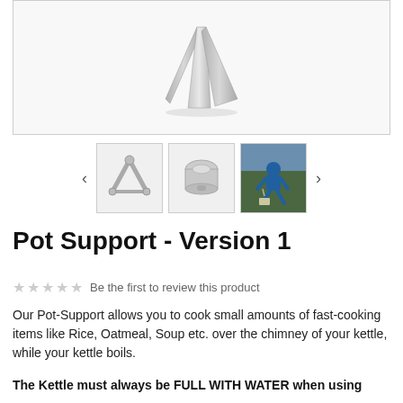[Figure (photo): Main product image showing a folded titanium wind screen / pot support panel, silver metallic, on white background]
[Figure (photo): Thumbnail 1: titanium pot support stand viewed from above, silver metallic on white background]
[Figure (photo): Thumbnail 2: titanium alcohol stove with pot support assembled, silver metallic on white background]
[Figure (photo): Thumbnail 3: outdoor photo of person in blue jacket crouching and cooking with a small stove]
Pot Support - Version 1
Be the first to review this product
Our Pot-Support allows you to cook small amounts of fast-cooking items like Rice, Oatmeal, Soup etc. over the chimney of your kettle, while your kettle boils.
The Kettle must always be FULL WITH WATER when using